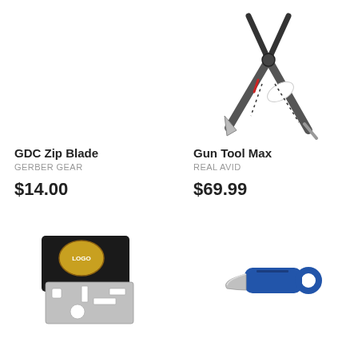[Figure (photo): GDC Zip Blade product image - not visible in top left]
[Figure (photo): Gun Tool Max multi-tool open showing pliers and blades, dark metal finish]
GDC Zip Blade
GERBER GEAR
$14.00
Gun Tool Max
REAL AVID
$69.99
[Figure (photo): Credit card multi-tool with various tool cutouts and a logo sticker on top]
[Figure (photo): Small folding pocket knife with blue handle and finger ring hole]